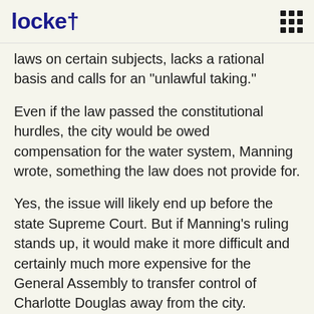locke† [menu icon]
laws on certain subjects, lacks a rational basis and calls for an "unlawful taking."
Even if the law passed the constitutional hurdles, the city would be owed compensation for the water system, Manning wrote, something the law does not provide for.
Yes, the issue will likely end up before the state Supreme Court. But if Manning's ruling stands up, it would make it more difficult and certainly much more expensive for the General Assembly to transfer control of Charlotte Douglas away from the city.